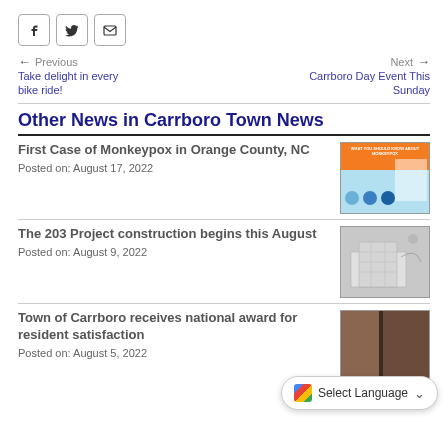[Figure (other): Social sharing icons: Facebook, Twitter, Email buttons]
← Previous
Take delight in every bike ride!
Next →
Carrboro Day Event This Sunday
Other News in Carrboro Town News
First Case of Monkeypox in Orange County, NC
Posted on: August 17, 2022
[Figure (infographic): Monkeypox infographic thumbnail with orange and blue sections]
The 203 Project construction begins this August
Posted on: August 9, 2022
[Figure (photo): Architectural rendering of The 203 Project building, black and white]
Town of Carrboro receives national award for resident satisfaction
Posted on: August 5, 2022
[Figure (photo): Partial photo thumbnail for town award article]